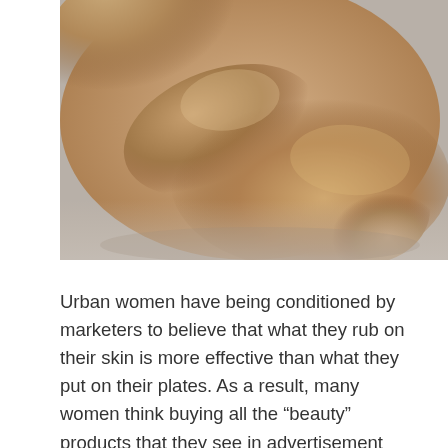[Figure (photo): Close-up photo of a person's smooth skin showing body curves, arms and legs folded together, with warm tan skin tones against a light gray background.]
Urban women have being conditioned by marketers to believe that what they rub on their skin is more effective than what they put on their plates. As a result, many women think buying all the “beauty” products that they see in advertisement would help them get smooth and healthy skin. For example, older